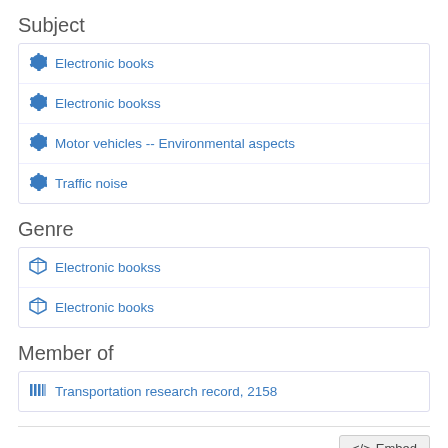Subject
Electronic books
Electronic bookss
Motor vehicles -- Environmental aspects
Traffic noise
Genre
Electronic bookss
Electronic books
Member of
Transportation research record, 2158
</> Embed
Items in the Series  Transportation